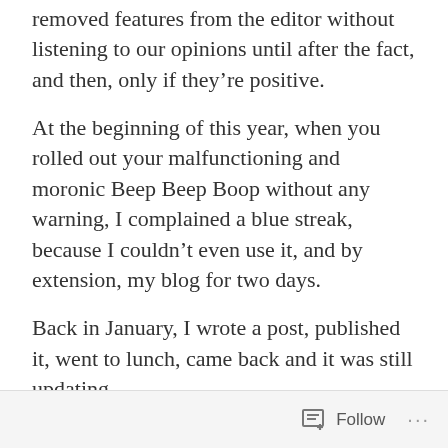removed features from the editor without listening to our opinions until after the fact, and then, only if they're positive.
At the beginning of this year, when you rolled out your malfunctioning and moronic Beep Beep Boop without any warning, I complained a blue streak, because I couldn't even use it, and by extension, my blog for two days.
Back in January, I wrote a post, published it, went to lunch, came back and it was still updating.
Follow ···